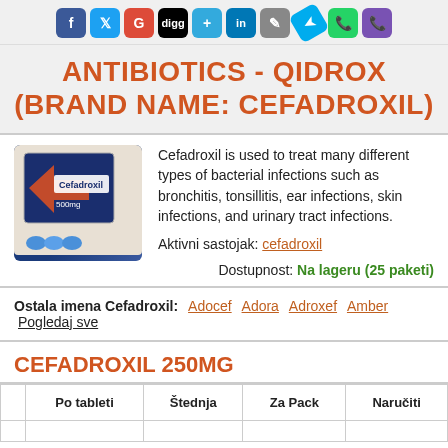[Figure (infographic): Row of social media sharing icons: Facebook, Twitter, Google+, Digg, AddThis, LinkedIn, and others]
ANTIBIOTICS - QIDROX (BRAND NAME: CEFADROXIL)
[Figure (photo): Cefadroxil 500mg medicine box with capsules]
Cefadroxil is used to treat many different types of bacterial infections such as bronchitis, tonsillitis, ear infections, skin infections, and urinary tract infections.
Aktivni sastojak: cefadroxil
Dostupnost: Na lageru (25 paketi)
Ostala imena Cefadroxil: Adocef Adora Adroxef Amber Pogledaj sve
CEFADROXIL 250MG
|  | Po tableti | Štednja | Za Pack | Naručiti |
| --- | --- | --- | --- | --- |
|  |  |  |  |  |